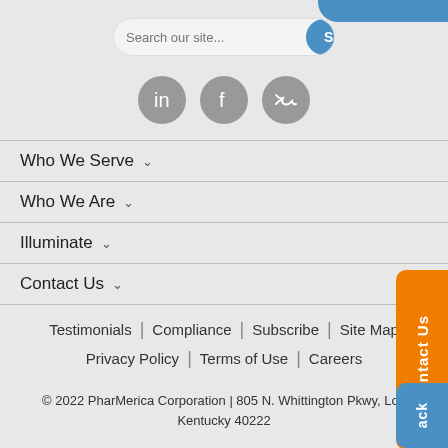[Figure (screenshot): Search bar with placeholder 'Search our site...' and blue Search button]
[Figure (infographic): Social media icons: LinkedIn, Facebook, Twitter (grey circles)]
Who We Serve
Who We Are
Illuminate
Contact Us
Testimonials | Compliance | Subscribe | Site Map
Privacy Policy | Terms of Use | Careers
© 2022 PharMerica Corporation | 805 N. Whittington Pkwy, Louisville, Kentucky 40222